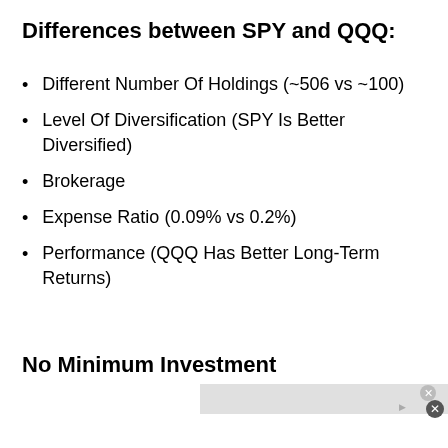Differences between SPY and QQQ:
Different Number Of Holdings (~506 vs ~100)
Level Of Diversification (SPY Is Better Diversified)
Brokerage
Expense Ratio (0.09% vs 0.2%)
Performance (QQQ Has Better Long-Term Returns)
No Minimum Investment
[Figure (other): Advertisement banner for Wayfair.com - Online Home Store Sale! with purple bedroom image, blue arrow button, and close buttons]